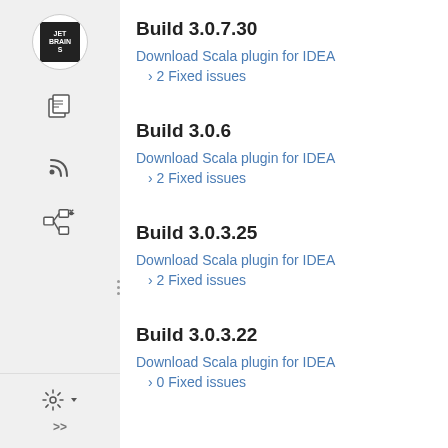Build 3.0.7.30
Download Scala plugin for IDEA
2 Fixed issues
Build 3.0.6
Download Scala plugin for IDEA
2 Fixed issues
Build 3.0.3.25
Download Scala plugin for IDEA
2 Fixed issues
Build 3.0.3.22
Download Scala plugin for IDEA
0 Fixed issues